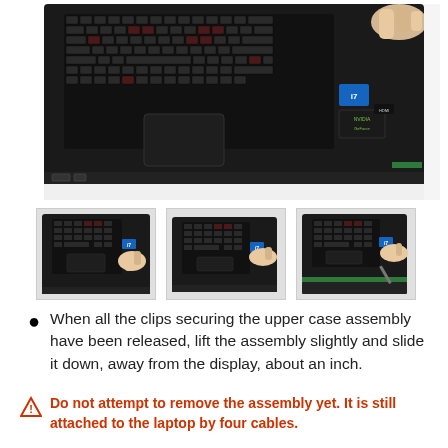[Figure (photo): Large photo of a gaming laptop (black with red backlit keyboard) viewed from above at an angle, with a hand lifting the upper case assembly from the top-right corner. The bottom edge shows ports.]
[Figure (photo): Three thumbnail photos showing sequential steps of sliding the upper case assembly off a gaming laptop: first thumbnail shows a hand pressing near the trackpad, second shows the assembly slightly lifted, third shows further separation with internal components visible.]
When all the clips securing the upper case assembly have been released, lift the assembly slightly and slide it down, away from the display, about an inch.
Do not attempt to remove the assembly yet. It is still attached to the laptop by four cables.